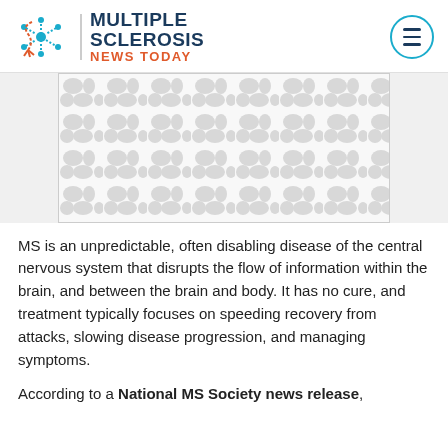[Figure (logo): Multiple Sclerosis News Today logo with stylized neuron/MS cell icon, vertical divider, bold navy text 'MULTIPLE SCLEROSIS' and red text 'NEWS TODAY']
[Figure (illustration): Placeholder image with repeating light gray cell/blob pattern on white background, representing MS-related imagery]
MS is an unpredictable, often disabling disease of the central nervous system that disrupts the flow of information within the brain, and between the brain and body. It has no cure, and treatment typically focuses on speeding recovery from attacks, slowing disease progression, and managing symptoms.
According to a National MS Society news release,